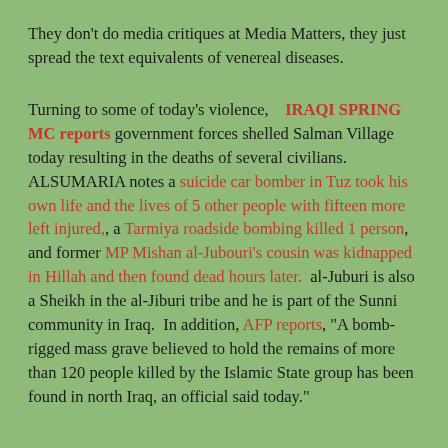They don't do media critiques at Media Matters, they just spread the text equivalents of venereal diseases.
Turning to some of today's violence,   IRAQI SPRING MC reports government forces shelled Salman Village today resulting in the deaths of several civilians.  ALSUMARIA notes a suicide car bomber in Tuz took his own life and the lives of 5 other people with fifteen more left injured,, a Tarmiya roadside bombing killed 1 person, and former MP Mishan al-Jubouri's cousin was kidnapped in Hillah and then found dead hours later.  al-Juburi is also a Sheikh in the al-Jiburi tribe and he is part of the Sunni community in Iraq.  In addition, AFP reports, "A bomb-rigged mass grave believed to hold the remains of more than 120 people killed by the Islamic State group has been found in north Iraq, an official said today."